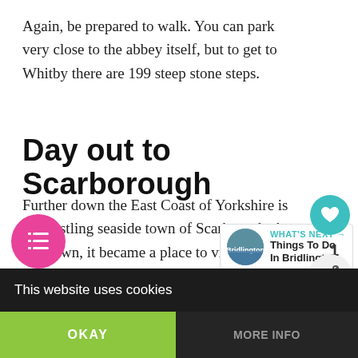Again, be prepared to walk. You can park very close to the abbey itself, but to get to Whitby there are 199 steep stone steps.
Day out to Scarborough
Further down the East Coast of Yorkshire is the bustling seaside town of Scarbrough. A Spa town, it became a place to visit as far back as the 17th century. It was Britain’s first seaside resort.
[Figure (screenshot): TOC button (pink circle with list icon) and What’s Next widget showing Bridlington thumbnail with label ‘WHAT’S NEXT’ and text ‘Things To Do In Bridlingto…’]
This website uses cookies | OKAY | MORE INFO